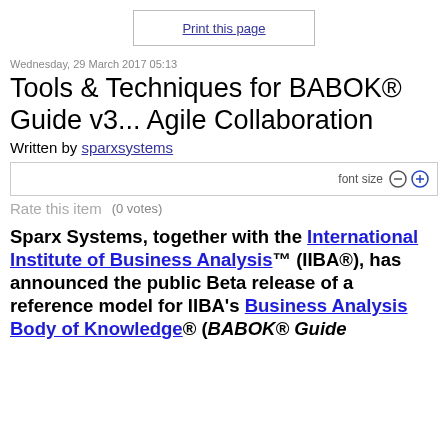Print this page
Wednesday, 29 March 2017 05:13
Tools & Techniques for BABOK® Guide v3... Agile Collaboration
Written by sparxsystems
font size
Rate this item (0 votes)
Sparx Systems, together with the International Institute of Business Analysis™ (IIBA®), has announced the public Beta release of a reference model for IIBA's Business Analysis Body of Knowledge® (BABOK® Guide